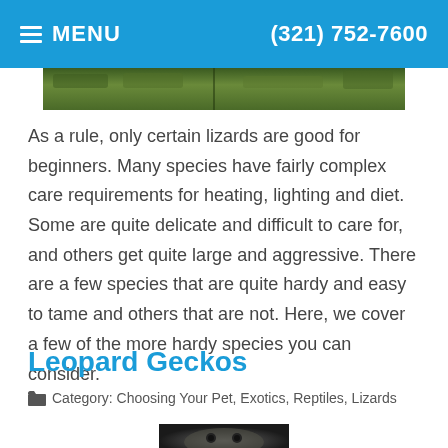MENU  (321) 752-7600
[Figure (photo): Partial top image showing foliage or outdoor nature scene, cropped at top]
As a rule, only certain lizards are good for beginners. Many species have fairly complex care requirements for heating, lighting and diet. Some are quite delicate and difficult to care for, and others get quite large and aggressive. There are a few species that are quite hardy and easy to tame and others that are not. Here, we cover a few of the more hardy species you can consider.
Leopard Geckos
Category: Choosing Your Pet, Exotics, Reptiles, Lizards
[Figure (photo): Bottom portion of a leopard gecko photo, partially visible]